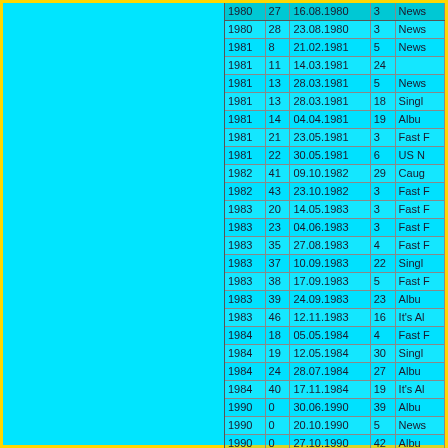| Year | Week | Date | Pos | Type |
| --- | --- | --- | --- | --- |
| 1980 | 27 | 16.08.1980 | 3 | News… |
| 1980 | 28 | 23.08.1980 | 3 | News… |
| 1981 | 8 | 21.02.1981 | 5 | News… |
| 1981 | 11 | 14.03.1981 | 24 |  |
| 1981 | 13 | 28.03.1981 | 5 | News… |
| 1981 | 13 | 28.03.1981 | 18 | Singl… |
| 1981 | 14 | 04.04.1981 | 19 | Albu… |
| 1981 | 21 | 23.05.1981 | 3 | Fast F… |
| 1981 | 22 | 30.05.1981 | 6 | US N… |
| 1982 | 41 | 09.10.1982 | 29 | Caug… |
| 1982 | 43 | 23.10.1982 | 3 | Fast F… |
| 1983 | 20 | 14.05.1983 | 3 | Fast F… |
| 1983 | 23 | 04.06.1983 | 3 | Fast F… |
| 1983 | 35 | 27.08.1983 | 4 | Fast F… |
| 1983 | 37 | 10.09.1983 | 22 | Singl… |
| 1983 | 38 | 17.09.1983 | 5 | Fast F… |
| 1983 | 39 | 24.09.1983 | 23 | Albu… |
| 1983 | 46 | 12.11.1983 | 16 | It's Al… |
| 1984 | 18 | 05.05.1984 | 4 | Fast F… |
| 1984 | 19 | 12.05.1984 | 30 | Singl… |
| 1984 | 24 | 28.07.1984 | 27 | Albu… |
| 1984 | 40 | 17.11.1984 | 19 | It's Al… |
| 1990 | 0 | 30.06.1990 | 39 | Albu… |
| 1990 | 0 | 20.10.1990 | 5 | News… |
| 1990 | 0 | 27.10.1990 | 42 | Albu… |
| 1992 | 6 | 08.02.1992 | 4 | News… |